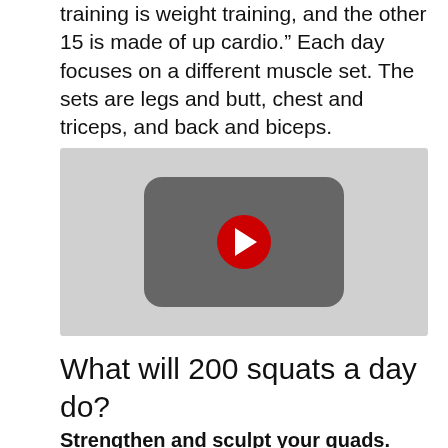training is weight training, and the other 15 is made of up cardio.” Each day focuses on a different muscle set. The sets are legs and butt, chest and triceps, and back and biceps.
[Figure (screenshot): YouTube video thumbnail placeholder showing a grey background with a YouTube play button (red circle with white triangle) centered on a dark rounded-rectangle shape.]
What will 200 squats a day do?
Strengthen and sculpt your quads.